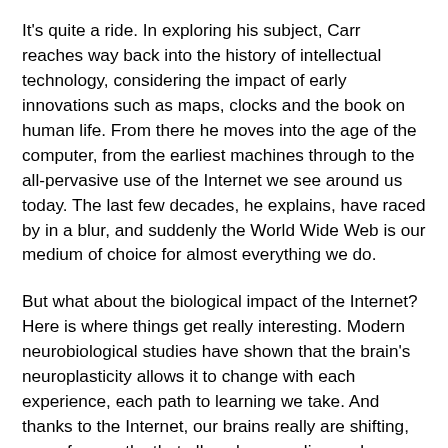It's quite a ride. In exploring his subject, Carr reaches way back into the history of intellectual technology, considering the impact of early innovations such as maps, clocks and the book on human life. From there he moves into the age of the computer, from the earliest machines through to the all-pervasive use of the Internet we see around us today. The last few decades, he explains, have raced by in a blur, and suddenly the World Wide Web is our medium of choice for almost everything we do.
But what about the biological impact of the Internet? Here is where things get really interesting. Modern neurobiological studies have shown that the brain's neuroplasticity allows it to change with each experience, each path to learning we take. And thanks to the Internet, our brains really are shifting, away from paths that allow deep reading and reflective thought, and towards a chemistry geared to process the distraction and rapid-fire information that the Internet represents. Carr shows how even reading a simple page containing links and hypertext is a far cry from reading a page in a book, requiring us to stop, however fleetingly, to